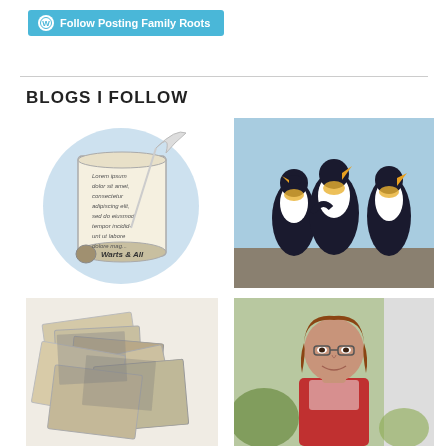Follow Posting Family Roots
BLOGS I FOLLOW
[Figure (illustration): A scroll with Lorem ipsum text and a quill pen illustration, with 'Warts & All' written at the bottom on a scroll graphic, on a blue circular background]
[Figure (photo): Three King penguins standing and interacting on a sandy/muddy ground with blue sky background]
[Figure (photo): A pile of old vintage black and white photographs scattered on a surface]
[Figure (photo): A woman with brown hair and glasses smiling at the camera, outdoors with greenery and a building in the background]